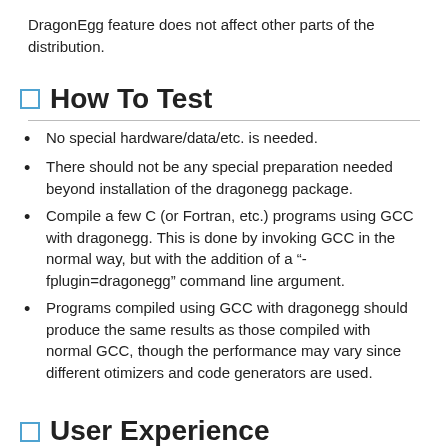DragonEgg feature does not affect other parts of the distribution.
How To Test
No special hardware/data/etc. is needed.
There should not be any special preparation needed beyond installation of the dragonegg package.
Compile a few C (or Fortran, etc.) programs using GCC with dragonegg. This is done by invoking GCC in the normal way, but with the addition of a "-fplugin=dragonegg" command line argument.
Programs compiled using GCC with dragonegg should produce the same results as those compiled with normal GCC, though the performance may vary since different otimizers and code generators are used.
User Experience
This package is only applicable to developers and will not